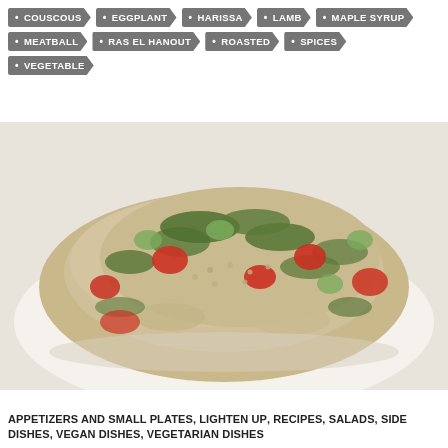COUSCOUS
EGGPLANT
HARISSA
LAMB
MAPLE SYRUP
MEATBALL
RAS EL HANOUT
ROASTED
SPICES
VEGETABLE
[Figure (photo): A close-up photo of a grain salad (tabbouleh-style) with bulgur wheat or couscous, chopped tomatoes, cucumber, and fresh herbs, served on a white plate/surface.]
APPETIZERS AND SMALL PLATES, LIGHTEN UP, RECIPES, SALADS, SIDE DISHES, VEGAN DISHES, VEGETARIAN DISHES